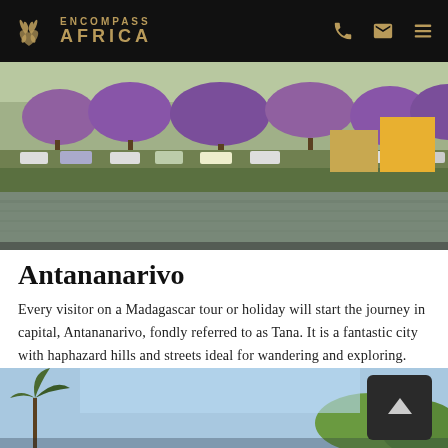Encompass Africa
[Figure (photo): Scenic view of Antananarivo city lakefront with purple jacaranda trees, parked vehicles, green embankment, and calm reflective water]
Antananarivo
Every visitor on a Madagascar tour or holiday will start the journey in capital, Antananarivo, fondly referred to as Tana. It is a fantastic city with haphazard hills and streets ideal for wandering and exploring.
[Figure (photo): Bottom partial photo showing tropical vegetation and sky, partially cropped]